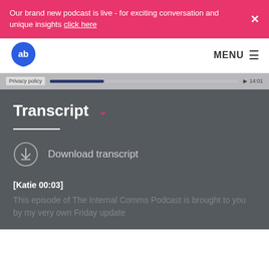Our brand new podcast is live - for exciting conversation and unique insights click here
MENU
[Figure (screenshot): Privacy policy player bar with progress indicator and time]
Transcript
Download transcript
[Katie 00:03]
This episode of The Internal Comms Podcast is brought to you by my very own Friday update